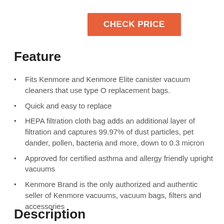[Figure (other): Orange button labeled CHECK PRICE]
Feature
Fits Kenmore and Kenmore Elite canister vacuum cleaners that use type O replacement bags.
Quick and easy to replace
HEPA filtration cloth bag adds an additional layer of filtration and captures 99.97% of dust particles, pet dander, pollen, bacteria and more, down to 0.3 micron
Approved for certified asthma and allergy friendly upright vacuums
Kenmore Brand is the only authorized and authentic seller of Kenmore vacuums, vacuum bags, filters and accessories
Description